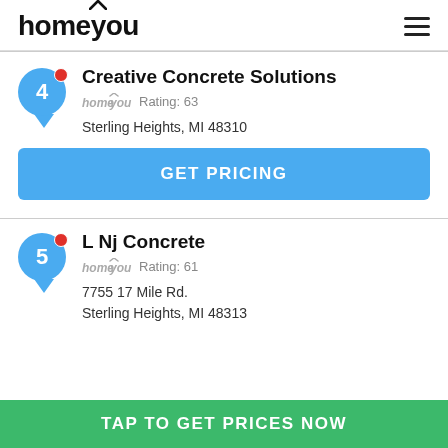homeyou
Creative Concrete Solutions
homeyou Rating: 63
Sterling Heights,  MI  48310
GET PRICING
L Nj Concrete
homeyou Rating: 61
7755 17 Mile Rd.
Sterling Heights,  MI  48313
TAP TO GET PRICES NOW